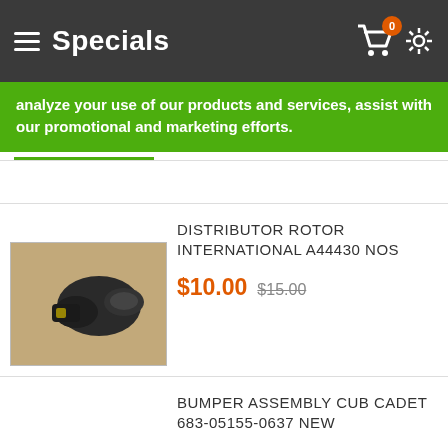Specials
analyze your use of our products and services, assist with our promotional and marketing efforts.
DISTRIBUTOR ROTOR INTERNATIONAL A44430 NOS
$10.00  $15.00
[Figure (photo): Photo of a distributor rotor part (black plastic rotor) for International A44430, shown on a beige background]
BUMPER ASSEMBLY CUB CADET 683-05155-0637 NEW